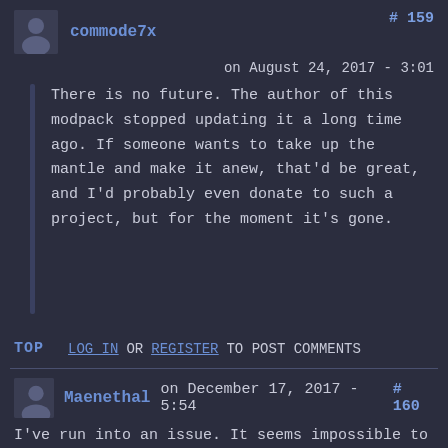commode7x #159
on August 24, 2017 - 3:01
There is no future. The author of this modpack stopped updating it a long time ago. If someone wants to take up the mantle and make it anew, that'd be great, and I'd probably even donate to such a project, but for the moment it's gone.
TOP   LOG IN OR REGISTER TO POST COMMENTS
Maenethal on December 17, 2017 - 5:54  #160
I've run into an issue. It seems impossible to cure parasites (fleas, lice etc.) no matter how many times I